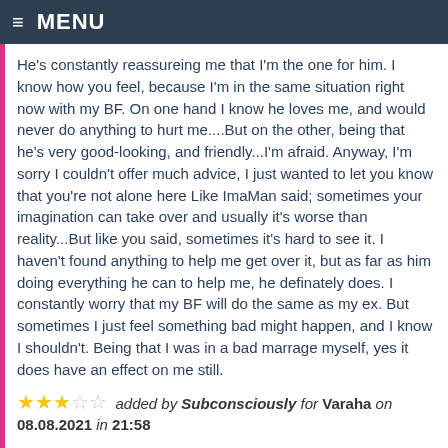≡ MENU
He's constantly reassureing me that I'm the one for him. I know how you feel, because I'm in the same situation right now with my BF. On one hand I know he loves me, and would never do anything to hurt me....But on the other, being that he's very good-looking, and friendly...I'm afraid. Anyway, I'm sorry I couldn't offer much advice, I just wanted to let you know that you're not alone here Like ImaMan said; sometimes your imagination can take over and usually it's worse than reality...But like you said, sometimes it's hard to see it. I haven't found anything to help me get over it, but as far as him doing everything he can to help me, he definately does. I constantly worry that my BF will do the same as my ex. But sometimes I just feel something bad might happen, and I know I shouldn't. Being that I was in a bad marrage myself, yes it does have an effect on me still.
★★★☆☆ added by Subconsciously for Varaha on 08.08.2021 in 21:58
She probably likes you but feels she needs to put her studies first and listen to her family.